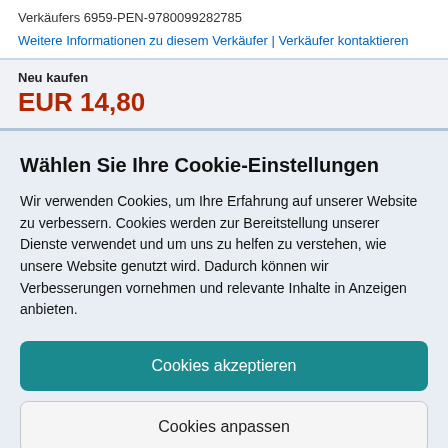Verkäufers 6959-PEN-9780099282785
Weitere Informationen zu diesem Verkäufer | Verkäufer kontaktieren
Neu kaufen
EUR 14,80
Wählen Sie Ihre Cookie-Einstellungen
Wir verwenden Cookies, um Ihre Erfahrung auf unserer Website zu verbessern. Cookies werden zur Bereitstellung unserer Dienste verwendet und um uns zu helfen zu verstehen, wie unsere Website genutzt wird. Dadurch können wir Verbesserungen vornehmen und relevante Inhalte in Anzeigen anbieten.
Cookies akzeptieren
Cookies anpassen